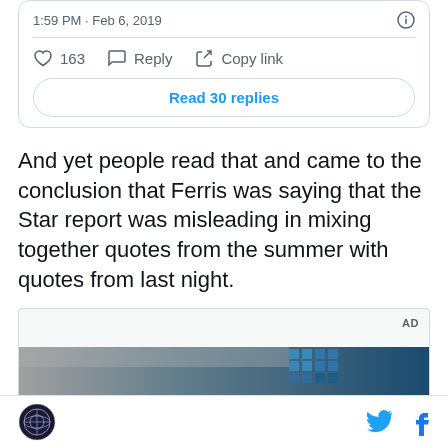1:59 PM · Feb 6, 2019
163  Reply  Copy link
Read 30 replies
And yet people read that and came to the conclusion that Ferris was saying that the Star report was misleading in mixing together quotes from the summer with quotes from last night.
[Figure (screenshot): Advertisement box with AD label and partial image of indoor scene with blue window grid]
Site logo, Twitter bird icon, Facebook f icon